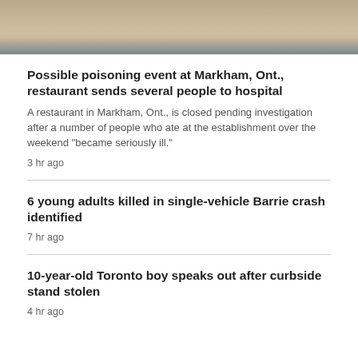[Figure (photo): Partial photo visible at top of page, appears to show an outdoor sandy/earthy scene with some structures or people]
Possible poisoning event at Markham, Ont., restaurant sends several people to hospital
A restaurant in Markham, Ont., is closed pending investigation after a number of people who ate at the establishment over the weekend "became seriously ill."
3 hr ago
6 young adults killed in single-vehicle Barrie crash identified
7 hr ago
10-year-old Toronto boy speaks out after curbside stand stolen
4 hr ago